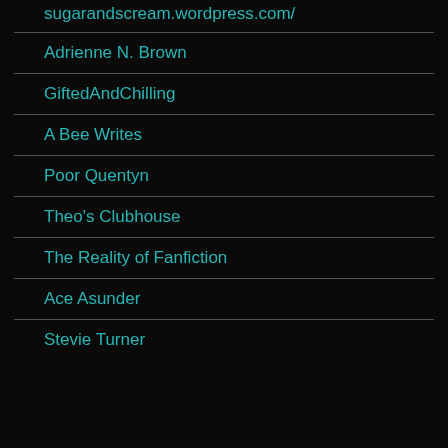sugarandscream.wordpress.com/
Adrienne N. Brown
GiftedAndChilling
A Bee Writes
Poor Quentyn
Theo's Clubhouse
The Reality of Fanfiction
Ace Asunder
Stevie Turner